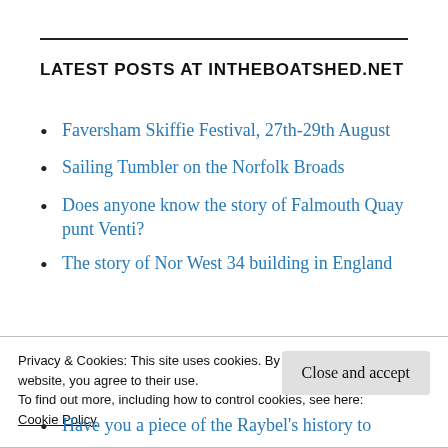LATEST POSTS AT INTHEBOATSHED.NET
Faversham Skiffie Festival, 27th-29th August
Sailing Tumbler on the Norfolk Broads
Does anyone know the story of Falmouth Quay punt Venti?
The story of Nor West 34 building in England
Privacy & Cookies: This site uses cookies. By continuing to use this website, you agree to their use.
To find out more, including how to control cookies, see here:
Cookie Policy
Have you a piece of the Raybel's history to